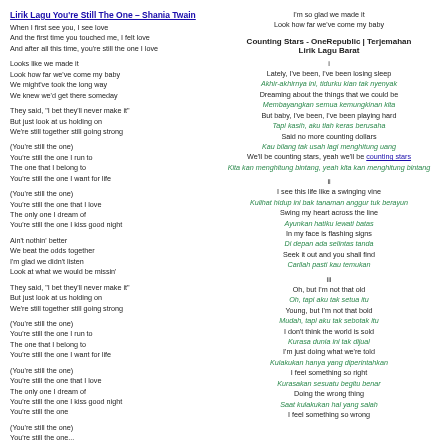Lirik Lagu You're Still The One – Shania Twain
When I first see you, I see love
And the first time you touched me, I felt love
And after all this time, you're still the one I love
Looks like we made it
Look how far we've come my baby
We might've took the long way
We knew we'd get there someday
They said, "I bet they'll never make it"
But just look at us holding on
We're still together still going strong
(You're still the one)
You're still the one I run to
The one that I belong to
You're still the one I want for life
(You're still the one)
You're still the one that I love
The only one I dream of
You're still the one I kiss good night
Ain't nothin' better
We beat the odds together
I'm glad we didn't listen
Look at what we would be missin'
They said, "I bet they'll never make it"
But just look at us holding on
We're still together still going strong
(You're still the one)
You're still the one I run to
The one that I belong to
You're still the one I want for life
(You're still the one)
You're still the one that I love
The only one I dream of
You're still the one I kiss good night
You're still the one
(You're still the one)
You're still the one...
I'm so glad we made it
Look how far we've come my baby
Counting Stars - OneRepublic | Terjemahan Lirik Lagu Barat
i
Lately, I've been, I've been losing sleep
Akhir-akhirnya ini, tidurku kian tak nyenyak
Dreaming about the things that we could be
Membayangkan semua kemungkinan kita
But baby, I've been, I've been playing hard
Tapi kasih, aku tlah keras berusaha
Said no more counting dollars
Kau bilang tak usah lagi menghitung uang
We'll be counting stars, yeah we'll be counting stars
Kita kan menghitung bintang, yeah kita kan menghitung bintang
ii
I see this life like a swinging vine
Kulihat hidup ini bak tanaman anggur tuk berayun
Swing my heart across the line
Ayunkan hatiku lewati batas
In my face is flashing signs
Di depan ada selintas tanda
Seek it out and you shall find
Carilah pasti kau temukan
iii
Oh, but I'm not that old
Oh, tapi aku tak setua itu
Young, but I'm not that bold
Mudah, tapi aku tak sebotak itu
I don't think the world is sold
Kurasa dunia ini tak dijual
I'm just doing what we're told
Kulakukan hanya yang diperintahkan
I feel something so right
Kurasakan sesuatu begitu benar
Doing the wrong thing
Saat kulakukan hal yang salah
I feel something so wrong